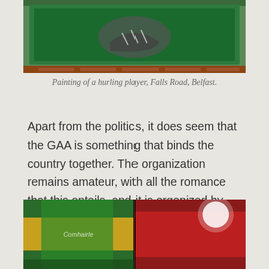[Figure (photo): Painting of a hurling player on a wall, Falls Road, Belfast. Shows a green painted mural with a boot/shoe detail visible, brick wall background.]
Painting of a hurling player, Falls Road, Belfast.
Apart from the politics, it does seem that the GAA is something that binds the country together. The organization remains amateur, with all the romance that this entails, and it is organized by county, the fundamental subunit of the Irish state. The sports, I discover, are very popular – people walk around in replica jerseys, and county colors fly from pubs and from private homes.
[Figure (photo): GAA county jerseys and flags displayed, showing colorful county colors including green, yellow, and red flags/jerseys at what appears to be a sporting event.]